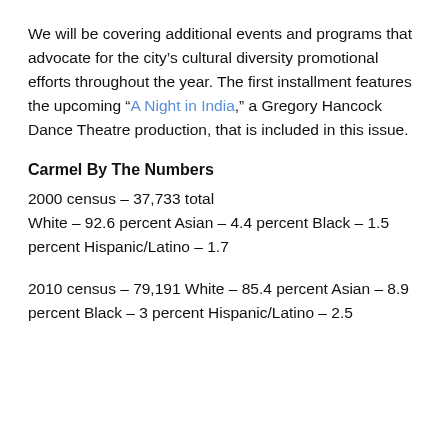We will be covering additional events and programs that advocate for the city’s cultural diversity promotional efforts throughout the year. The first installment features the upcoming “A Night in India,” a Gregory Hancock Dance Theatre production, that is included in this issue.
Carmel By The Numbers
2000 census – 37,733 total
White – 92.6 percent Asian – 4.4 percent Black – 1.5 percent Hispanic/Latino – 1.7
2010 census – 79,191 White – 85.4 percent Asian – 8.9 percent Black – 3 percent Hispanic/Latino – 2.5